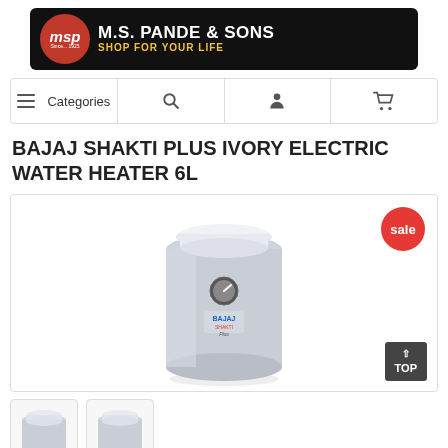[Figure (logo): M.S. Pande & Sons logo with red MSP badge and tagline 'SHOP FOR YOUR LIFE' on black background]
[Figure (screenshot): Navigation bar with hamburger menu Categories, search icon, user icon, and cart icon]
BAJAJ SHAKTI PLUS IVORY ELECTRIC WATER HEATER 6L
[Figure (photo): Bajaj Shakti Plus Ivory Electric Water Heater 6L product photo, cylindrical white/silver unit with Bajaj Shakti branding, with a red sale badge in top right corner and a TOP button in bottom right]
[Figure (photo): Two thumbnail images of the same Bajaj water heater, partially visible at bottom of page]